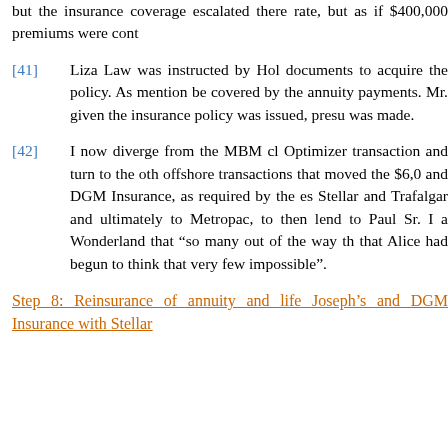but the insurance coverage escalated there rate, but as if $400,000 premiums were cont
[41] Liza Law was instructed by Hol documents to acquire the policy. As mention be covered by the annuity payments. Mr. given the insurance policy was issued, presu was made.
[42] I now diverge from the MBM cl Optimizer transaction and turn to the oth offshore transactions that moved the $6,0 and DGM Insurance, as required by the es Stellar and Trafalgar and ultimately to Metropac, to then lend to Paul Sr. I a Wonderland that “so many out of the way th that Alice had begun to think that very few impossible”.
Step 8: Reinsurance of annuity and life Joseph’s and DGM Insurance with Stellar